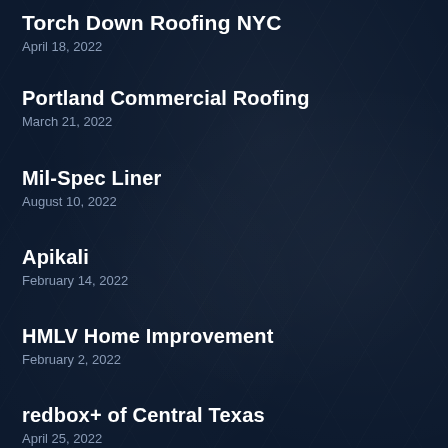Torch Down Roofing NYC
April 18, 2022
Portland Commercial Roofing
March 21, 2022
Mil-Spec Liner
August 10, 2022
Apikali
February 14, 2022
HMLV Home Improvement
February 2, 2022
redbox+ of Central Texas
April 25, 2022